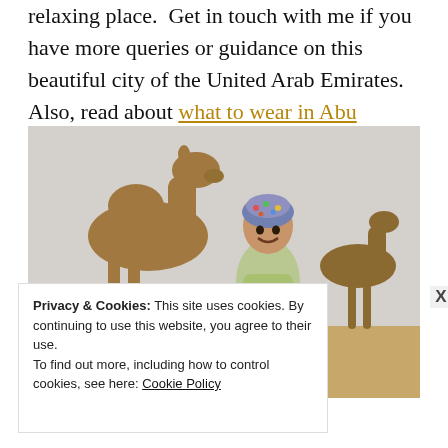relaxing place.  Get in touch with me if you have more queries or guidance on this beautiful city of the United Arab Emirates. Also, read about what to wear in Abu Dhabi.
[Figure (photo): A smiling woman wearing a colorful head covering standing among camels in a desert setting with sandy dunes in the background.]
Privacy & Cookies: This site uses cookies. By continuing to use this website, you agree to their use.
To find out more, including how to control cookies, see here: Cookie Policy